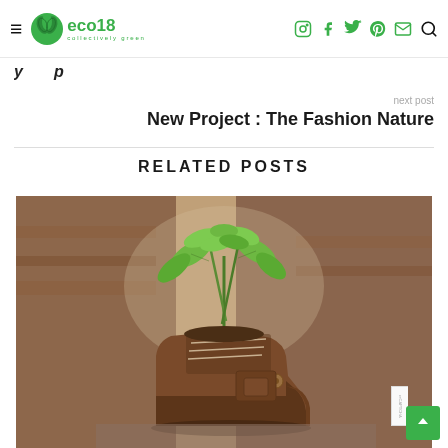eco18 collectively green — navigation header with social icons
previous post title (partially visible, italic bold)
next post
New Project : The Fashion Nature
RELATED POSTS
[Figure (photo): A worn brown leather boot used as a planter, with green plant seedlings growing out of the top, set against a blurred rustic wooden background]